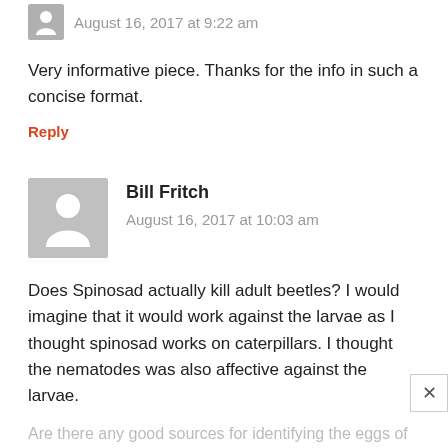August 16, 2017 at 9:22 am
Very informative piece. Thanks for the info in such a concise format.
Reply
Bill Fritch
August 16, 2017 at 10:03 am
Does Spinosad actually kill adult beetles? I would imagine that it would work against the larvae as I thought spinosad works on caterpillars. I thought the nematodes was also affective against the larvae.
Are there any good sources for identifying the eggs of these pests?